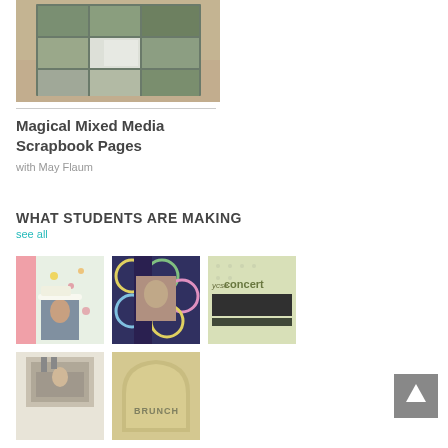[Figure (photo): Scrapbook pages laid out on a wooden table, showing a collage of photos arranged in a grid pattern]
Magical Mixed Media Scrapbook Pages
with May Flaum
WHAT STUDENTS ARE MAKING
see all
[Figure (photo): Student scrapbook page with floral patterned paper, pink accents, and a photo of a girl]
[Figure (photo): Student scrapbook page with circular patterned paper and a portrait photo with dark border]
[Figure (photo): Student scrapbook page with text reading 'concert' and 'choir' with a group photo]
[Figure (photo): Student scrapbook page with a photo of a person at a desk]
[Figure (photo): Student scrapbook page with text reading 'BRUNCH' on a shaped frame]